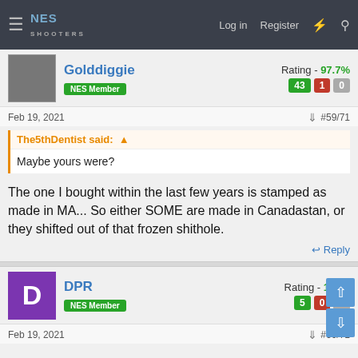NES Shooters — Log in  Register
Golddiggie — NES Member — Rating - 97.7% — 43 / 1 / 0
Feb 19, 2021  #59/71
The5thDentist said: ↑
Maybe yours were?
The one I bought within the last few years is stamped as made in MA... So either SOME are made in Canadastan, or they shifted out of that frozen shithole.
↩ Reply
DPR — NES Member — Rating - 100% — 5 / 0 / 0
Feb 19, 2021  #60/71